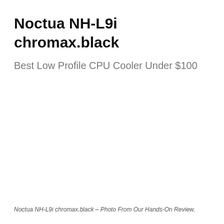Noctua NH-L9i chromax.black
Best Low Profile CPU Cooler Under $100
Noctua NH-L9i chromax.black – Photo From Our Hands-On Review.